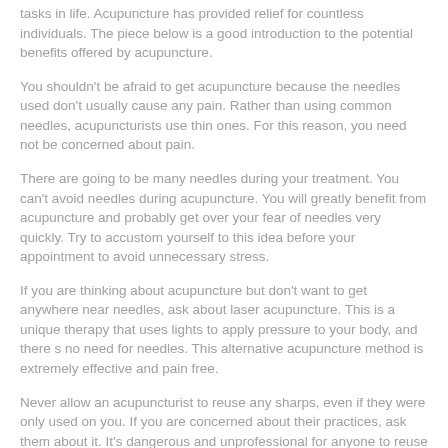tasks in life. Acupuncture has provided relief for countless individuals. The piece below is a good introduction to the potential benefits offered by acupuncture.
You shouldn't be afraid to get acupuncture because the needles used don't usually cause any pain. Rather than using common needles, acupuncturists use thin ones. For this reason, you need not be concerned about pain.
There are going to be many needles during your treatment. You can't avoid needles during acupuncture. You will greatly benefit from acupuncture and probably get over your fear of needles very quickly. Try to accustom yourself to this idea before your appointment to avoid unnecessary stress.
If you are thinking about acupuncture but don't want to get anywhere near needles, ask about laser acupuncture. This is a unique therapy that uses lights to apply pressure to your body, and there s no need for needles. This alternative acupuncture method is extremely effective and pain free.
Never allow an acupuncturist to reuse any sharps, even if they were only used on you. If you are concerned about their practices, ask them about it. It's dangerous and unprofessional for anyone to reuse needles.